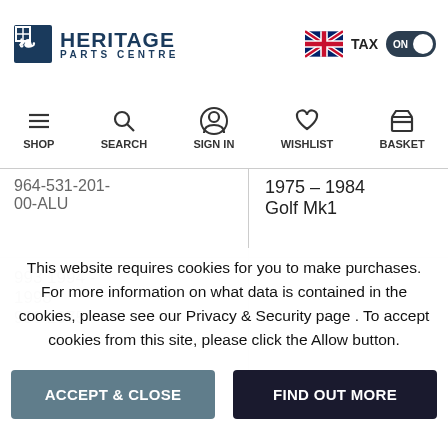Heritage Parts Centre — TAX ON
[Figure (screenshot): Navigation bar with SHOP, SEARCH, SIGN IN, WISHLIST, BASKET icons]
| 964-531-201-00-ALU | 1975 - 1984 Golf Mk1 |
| 993 1994 - 1998
930 1975 - |  |
This website requires cookies for you to make purchases. For more information on what data is contained in the cookies, please see our Privacy & Security page . To accept cookies from this site, please click the Allow button.
ACCEPT & CLOSE
FIND OUT MORE